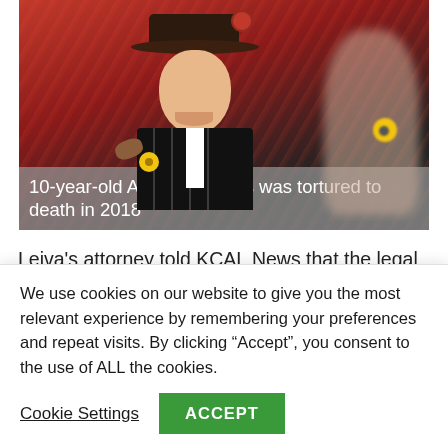[Figure (photo): Photo of 10-year-old Anthony Avalos, a young child wearing a black hat and black pinstripe suit with yellow flower, posing with a blurred person to the right, against a red background. Caption overlay reads: '10-year-old Anthony Avalos was tortured to death in 2018']
10-year-old Anthony Avalos was tortured to death in 2018
Leiva's attorney told KCAL News that the legal t...
We use cookies on our website to give you the most relevant experience by remembering your preferences and repeat visits. By clicking “Accept”, you consent to the use of ALL the cookies.
Cookie Settings
ACCEPT